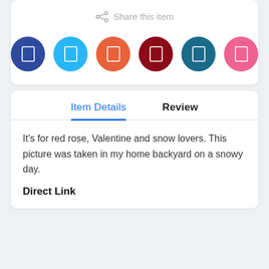Share this item
[Figure (infographic): Six colored circular social share buttons in a row: dark blue, light blue, orange-red, dark red, teal, and pink, each with a small white rectangle icon in the center.]
Item Details
Review
It's for red rose, Valentine and snow lovers. This picture was taken in my home backyard on a snowy day.
Direct Link